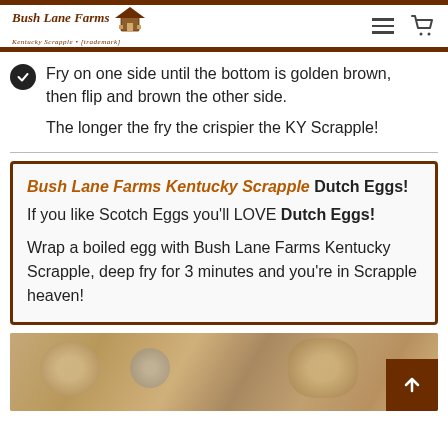Bush Lane Farms Kentucky Scrapple — [logo with hamburger and cart icons]
Fry on one side until the bottom is golden brown, then flip and brown the other side.
The longer the fry the crispier the KY Scrapple!
Bush Lane Farms Kentucky Scrapple Dutch Eggs! If you like Scotch Eggs you'll LOVE Dutch Eggs!

Wrap a boiled egg with Bush Lane Farms Kentucky Scrapple, deep fry for 3 minutes and you're in Scrapple heaven!
[Figure (photo): Close-up photo of Bush Lane Farms Kentucky Scrapple food product with a scroll-to-top button overlay in the bottom right corner]